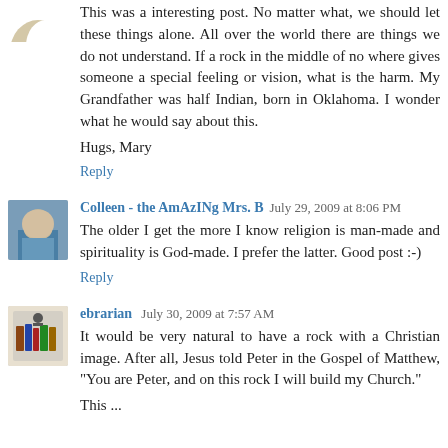This was a interesting post. No matter what, we should let these things alone. All over the world there are things we do not understand. If a rock in the middle of no where gives someone a special feeling or vision, what is the harm. My Grandfather was half Indian, born in Oklahoma. I wonder what he would say about this.
Hugs, Mary
Reply
Colleen - the AmAzINg Mrs. B  July 29, 2009 at 8:06 PM
The older I get the more I know religion is man-made and spirituality is God-made. I prefer the latter. Good post :-)
Reply
ebrarian  July 30, 2009 at 7:57 AM
It would be very natural to have a rock with a Christian image. After all, Jesus told Peter in the Gospel of Matthew, "You are Peter, and on this rock I will build my Church." This ...